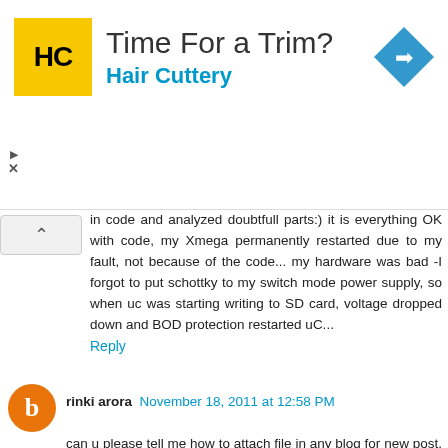[Figure (other): Advertisement banner for Hair Cuttery with logo, title 'Time For a Trim?', subtitle 'Hair Cuttery', and a navigation arrow icon]
in code and analyzed doubtfull parts:) it is everything OK with code, my Xmega permanently restarted due to my fault, not because of the code... my hardware was bad -I forgot to put schottky to my switch mode power supply, so when uc was starting writing to SD card, voltage dropped down and BOD protection restarted uC...
Reply
rinki arora November 18, 2011 at 12:58 PM
can u please tell me how to attach file in any blog for new post. i have just now create my eblog nw i have copy my word document in one of the post but images r not copied to it....and i don't want to insert single image. i ust want to attached some file which i have made...so plz help me..i also want to create blogs.
my email id is rinki.arora89@gmail.com